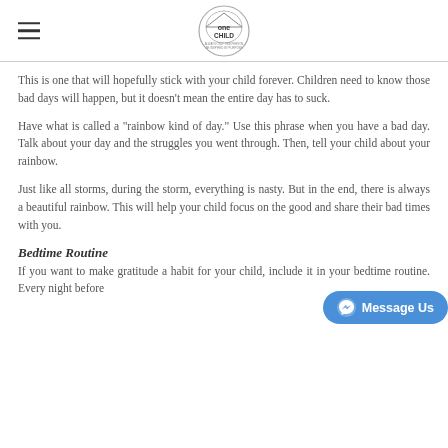one CHILD logo and hamburger menu
This is one that will hopefully stick with your child forever. Children need to know those bad days will happen, but it doesn't mean the entire day has to suck.
Have what is called a "rainbow kind of day." Use this phrase when you have a bad day. Talk about your day and the struggles you went through. Then, tell your child about your rainbow.
Just like all storms, during the storm, everything is nasty. But in the end, there is always a beautiful rainbow. This will help your child focus on the good and share their bad times with you.
Bedtime Routine
If you want to make gratitude a habit for your child, include it in your bedtime routine. Every night before